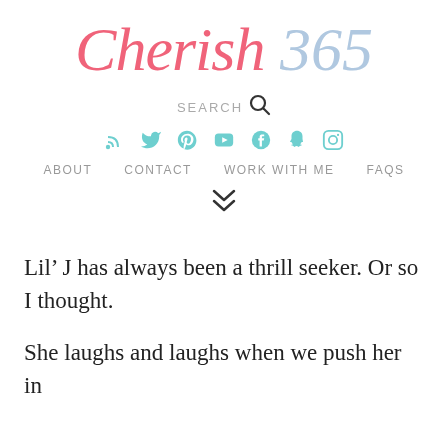Cherish 365
SEARCH
[Figure (other): Social media icons: RSS, Twitter, Pinterest, YouTube, Facebook, Snapchat, Instagram]
ABOUT   CONTACT   WORK WITH ME   FAQS
[Figure (other): Double chevron down arrow icon]
Lil’ J has always been a thrill seeker. Or so I thought.
She laughs and laughs when we push her in